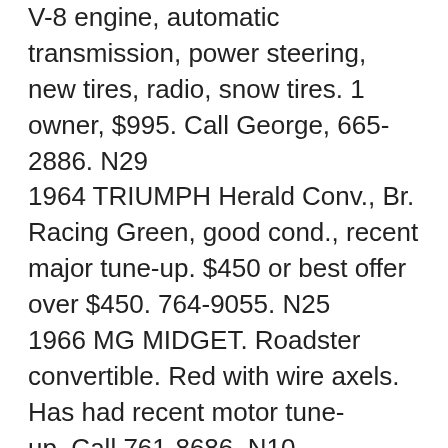V-8 engine, automatic transmission, power steering, new tires, radio, snow tires. 1 owner, $995. Call George, 665-2886. N29
1964 TRIUMPH Herald Conv., Br. Racing Green, good cond., recent major tune-up. $450 or best offer over $450. 764-9055. N25
1966 MG MIDGET. Roadster convertible. Red with wire axels. Has had recent motor tune-up..Call 761-8686. N10
DODGE DART, 1966: 4 door, $1350. Call 761-0256, 9 A.M.-2 P.M. only. N23